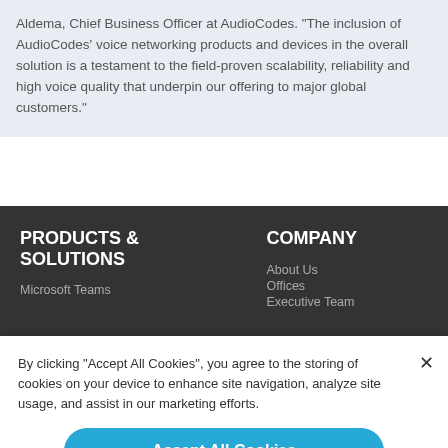Aldema, Chief Business Officer at AudioCodes. "The inclusion of AudioCodes' voice networking products and devices in the overall solution is a testament to the field-proven scalability, reliability and high voice quality that underpin our offering to major global customers."
PRODUCTS & SOLUTIONS
Microsoft Teams
COMPANY
About Us
Offices
Executive Team
By clicking "Accept All Cookies", you agree to the storing of cookies on your device to enhance site navigation, analyze site usage, and assist in our marketing efforts.
Accept All Cookies
Cookies Settings